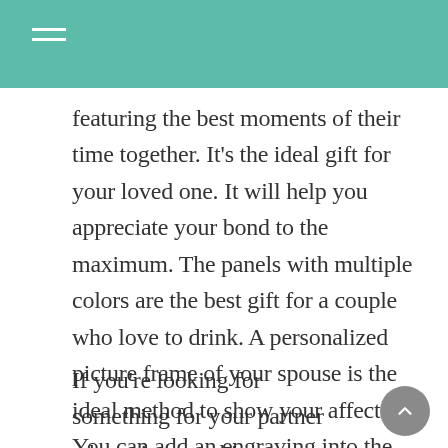featuring the best moments of their time together. It's the ideal gift for your loved one. It will help you appreciate your bond to the maximum. The panels with multiple colors are the best gift for a couple who love to drink. A personalized picture frame of your spouse is the ideal method to show your affection. You can add an engraving into the frame in order to make it special and memorable.
If you're looking for something for your partner who enjoys cooking, you can give